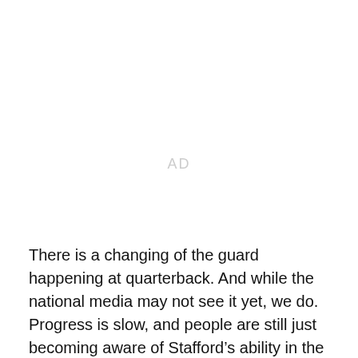[Figure (other): AD placeholder / advertisement space]
There is a changing of the guard happening at quarterback. And while the national media may not see it yet, we do. Progress is slow, and people are still just becoming aware of Stafford’s ability in the fourth quarter, but they’ll eventually become keen to the type of player he is in high pressure situations.